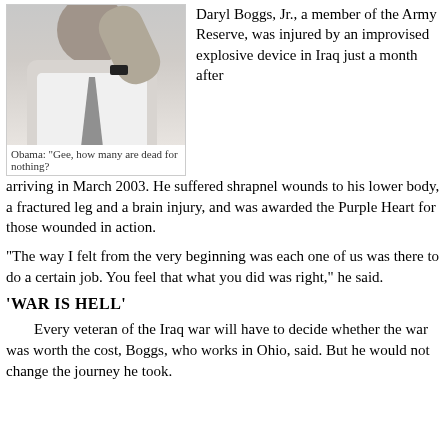[Figure (photo): Photo of a man in a white dress shirt and gray tie, raising his arm, with a watch visible on his wrist.]
Obama: "Gee, how many are dead for nothing?"
Daryl Boggs, Jr., a member of the Army Reserve, was injured by an improvised explosive device in Iraq just a month after arriving in March 2003. He suffered shrapnel wounds to his lower body, a fractured leg and a brain injury, and was awarded the Purple Heart for those wounded in action.
“The way I felt from the very beginning was each one of us was there to do a certain job. You feel that what you did was right,” he said.
‘WAR IS HELL’
Every veteran of the Iraq war will have to decide whether the war was worth the cost, Boggs, who works in Ohio, said. But he would not change the journey he took.